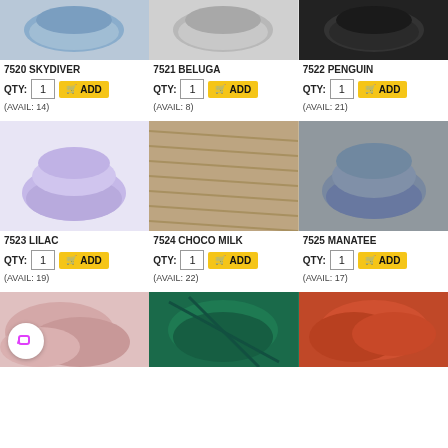[Figure (photo): Three yarn product images top row: Skydiver (blue), Beluga (grey), Penguin (black)]
7520 SKYDIVER
QTY: 1  ADD  (AVAIL: 14)
7521 BELUGA
QTY: 1  ADD  (AVAIL: 8)
7522 PENGUIN
QTY: 1  ADD  (AVAIL: 21)
[Figure (photo): Three yarn product images middle row: Lilac (purple), Choco Milk (brown/tan), Manatee (grey)]
7523 LILAC
QTY: 1  ADD  (AVAIL: 19)
7524 CHOCO MILK
QTY: 1  ADD  (AVAIL: 22)
7525 MANATEE
QTY: 1  ADD  (AVAIL: 17)
[Figure (photo): Three yarn product images bottom row: pink, teal/green, orange-red]